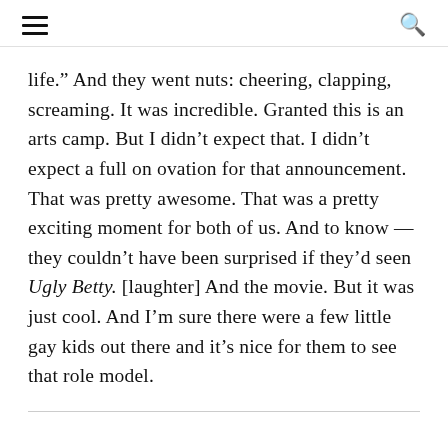[hamburger menu] [search icon]
life.” And they went nuts: cheering, clapping, screaming. It was incredible. Granted this is an arts camp. But I didn’t expect that. I didn’t expect a full on ovation for that announcement. That was pretty awesome. That was a pretty exciting moment for both of us. And to know — they couldn’t have been surprised if they’d seen Ugly Betty. [laughter] And the movie. But it was just cool. And I’m sure there were a few little gay kids out there and it’s nice for them to see that role model.